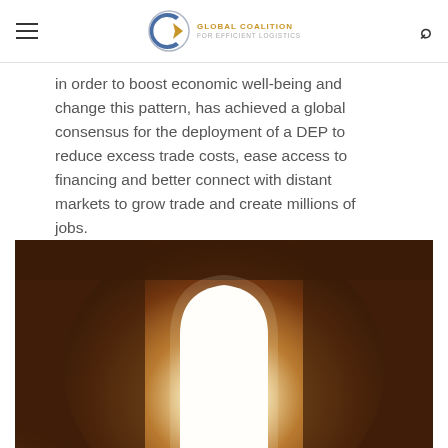GLOBAL COALITION FOR EFFICIENT LOGISTICS
in order to boost economic well-being and change this pattern, has achieved a global consensus for the deployment of a DEP to reduce excess trade costs, ease access to financing and better connect with distant markets to grow trade and create millions of jobs.
[Figure (photo): Bright light shining through an arched opening in a dark textured wall, creating a glowing silhouette effect.]